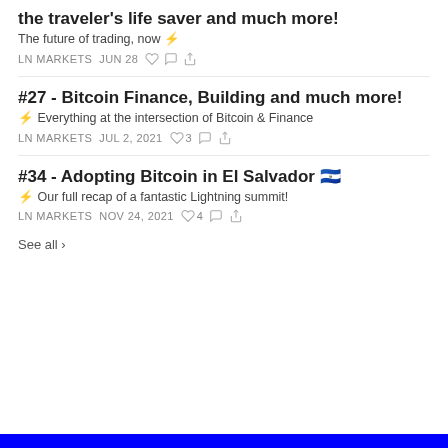the traveler's life saver and much more!
The future of trading, now ⚡
LN MARKETS  JUN 28  ♡  💬  ↗
#27 - Bitcoin Finance, Building and much more!
⚡ Everything at the intersection of Bitcoin & Finance
LN MARKETS  JUL 2, 2021  ♡ 3  💬  ↗
#34 - Adopting Bitcoin in El Salvador 🇸🇻
⚡ Our full recap of a fantastic Lightning summit!
LN MARKETS  NOV 24, 2021  ♡ 4  💬  ↗
See all ›